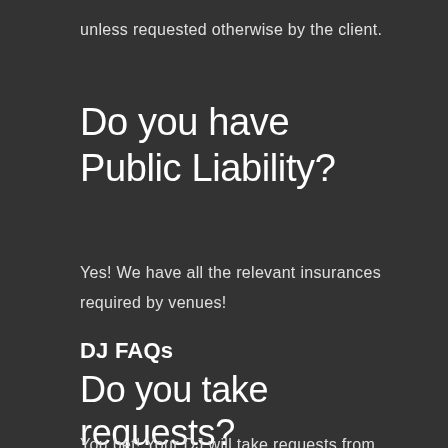unless requested otherwise by the client.
Do you have Public Liability?
Yes! We have all the relevant insurances required by venues!
DJ FAQs
Do you take requests?
You bet! Your DJ will take requests from guests unless you have instructed them otherwise.
Although our more than 15,000 songs...